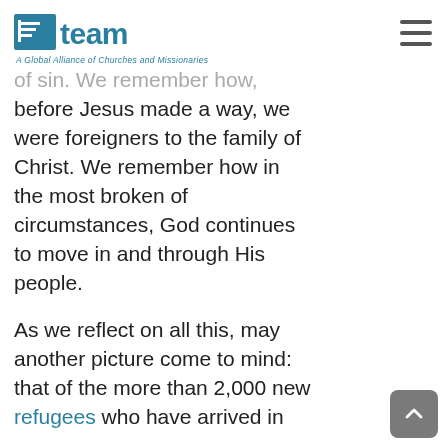TEAM — A Global Alliance of Churches and Missionaries
of sin. We remember how, before Jesus made a way, we were foreigners to the family of Christ. We remember how in the most broken of circumstances, God continues to move in and through His people.

As we reflect on all this, may another picture come to mind: that of the more than 2,000 new refugees who have arrived in
[Figure (other): Back-to-top button, grey rounded square with upward chevron arrow]